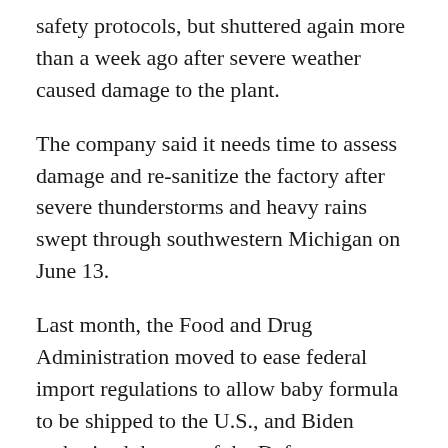safety protocols, but shuttered again more than a week ago after severe weather caused damage to the plant.
The company said it needs time to assess damage and re-sanitize the factory after severe thunderstorms and heavy rains swept through southwestern Michigan on June 13.
Last month, the Food and Drug Administration moved to ease federal import regulations to allow baby formula to be shipped to the U.S., and Biden authorized the use of the Defense Production Act to provide federal support to move formula from overseas into the U.S.
Wednesday's announcement also includes air shipments of 1.65 million 8-ounce bottle equivalents